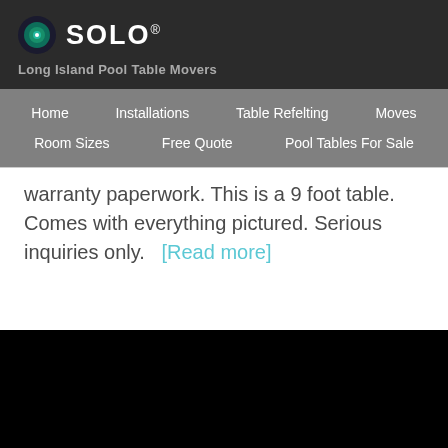[Figure (logo): SOLO logo with circular icon (dark green/teal concentric circles with white dot) and white SOLO® text]
Long Island Pool Table Movers
Home   Installations   Table Refelting   Moves   Room Sizes   Free Quote   Pool Tables For Sale
warranty paperwork. This is a 9 foot table. Comes with everything pictured. Serious inquiries only.   [Read more]